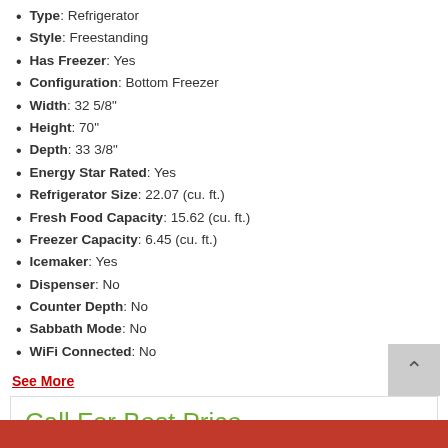Type: Refrigerator
Style: Freestanding
Has Freezer: Yes
Configuration: Bottom Freezer
Width: 32 5/8"
Height: 70"
Depth: 33 3/8"
Energy Star Rated: Yes
Refrigerator Size: 22.07 (cu. ft.)
Fresh Food Capacity: 15.62 (cu. ft.)
Freezer Capacity: 6.45 (cu. ft.)
Icemaker: Yes
Dispenser: No
Counter Depth: No
Sabbath Mode: No
WiFi Connected: No
See More
Call For Best Price
1